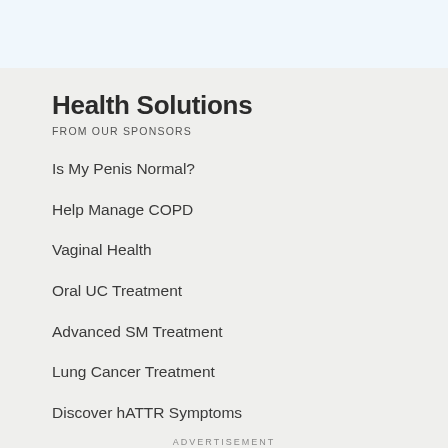Health Solutions
FROM OUR SPONSORS
Is My Penis Normal?
Help Manage COPD
Vaginal Health
Oral UC Treatment
Advanced SM Treatment
Lung Cancer Treatment
Discover hATTR Symptoms
ADVERTISEMENT